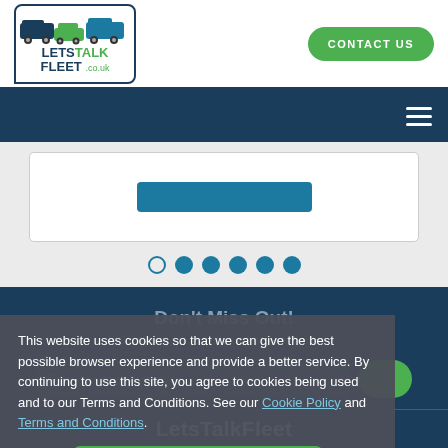[Figure (logo): LetsTalkFleet logo with van, car, and van icons above stylized text reading LETS TALK FLEET .co.uk]
CONTACT US
[Figure (illustration): Hamburger menu icon (three white horizontal lines) on dark navy background]
[Figure (illustration): Slide carousel content area with a teal button element visible, and pagination dots below]
Don't Miss Out!
Sign up to our industry updates and insight.
Enter your email address...
SUBSCRIBE
This website uses cookies so that we can give the best possible browser experience and provide a better service. By continuing to use this site, you agree to cookies being used and to our Terms and Conditions. See our Cookie Policy and Terms and Conditions.
Dismiss
LetsTalkFleet